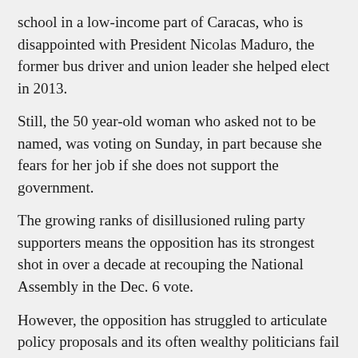school in a low-income part of Caracas, who is disappointed with President Nicolas Maduro, the former bus driver and union leader she helped elect in 2013.
Still, the 50 year-old woman who asked not to be named, was voting on Sunday, in part because she fears for her job if she does not support the government.
The growing ranks of disillusioned ruling party supporters means the opposition has its strongest shot in over a decade at recouping the National Assembly in the Dec. 6 vote.
However, the opposition has struggled to articulate policy proposals and its often wealthy politicians fail to connect with normal Venezuelans.
The government also boasts a remarkable state propaganda machine, electoral district geography seen as favorable, and institutions filled with supporters.
Maduro said on Sunday voting booths could stay open through the night if necessary, adding he had the right to know who had voted and who had not.